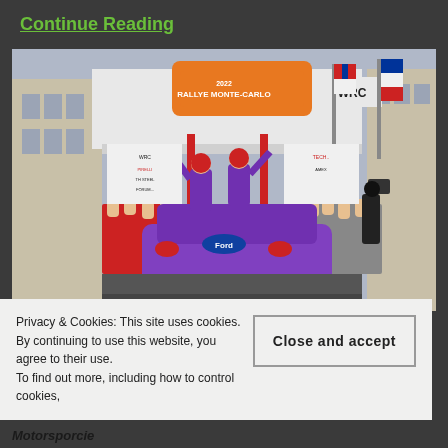Continue Reading
[Figure (photo): Rally car (Ford, purple/blue livery with Red Bull branding) at the Rallye Monte-Carlo 2022 WRC podium celebration. Two drivers in purple suits stand on top of the car with arms raised in celebration. Large orange and white banner reads 'Rallye Monte-Carlo' with WRC logo. Crowd and officials in red jackets surround the car.]
Privacy & Cookies: This site uses cookies. By continuing to use this website, you agree to their use. To find out more, including how to control cookies,
Close and accept
Motorsporcie